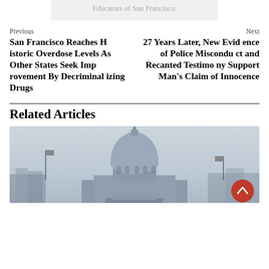Educators of San Francisco.
Previous
San Francisco Reaches Historic Overdose Levels As Other States Seek Improvement By Decriminalizing Drugs
Next
27 Years Later, New Evidence of Police Misconduct and Recanted Testimony Support Man's Claim of Innocence
Related Articles
[Figure (photo): Photograph of San Francisco City Hall dome against an overcast sky]